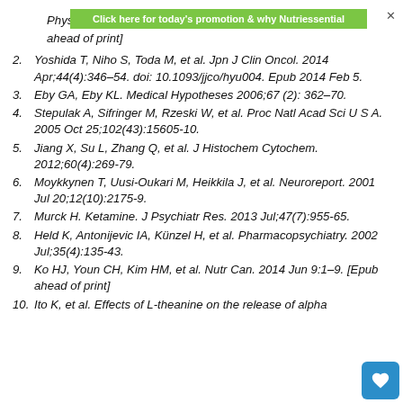Click here for today's promotion & why Nutriessential
[pub ahead of print]
2. Yoshida T, Niho S, Toda M, et al. Jpn J Clin Oncol. 2014 Apr;44(4):346-54. doi: 10.1093/jjco/hyu004. Epub 2014 Feb 5.
3. Eby GA, Eby KL. Medical Hypotheses 2006;67 (2): 362-70.
4. Stepulak A, Sifringer M, Rzeski W, et al. Proc Natl Acad Sci U S A. 2005 Oct 25;102(43):15605-10.
5. Jiang X, Su L, Zhang Q, et al. J Histochem Cytochem. 2012;60(4):269-79.
6. Moykkynen T, Uusi-Oukari M, Heikkila J, et al. Neuroreport. 2001 Jul 20;12(10):2175-9.
7. Murck H. Ketamine. J Psychiatr Res. 2013 Jul;47(7):955-65.
8. Held K, Antonijevic IA, Künzel H, et al. Pharmacopsychiatry. 2002 Jul;35(4):135-43.
9. Ko HJ, Youn CH, Kim HM, et al. Nutr Can. 2014 Jun 9:1-9. [Epub ahead of print]
10. Ito K, et al. Effects of L-theanine on the release of alpha